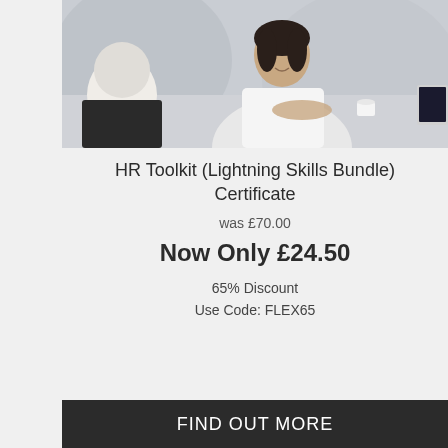[Figure (photo): Two people in a professional meeting; a woman in a white blouse smiling at a man seated across from her at a desk]
HR Toolkit (Lightning Skills Bundle) Certificate
was £70.00
Now Only £24.50
65% Discount
Use Code: FLEX65
FIND OUT MORE